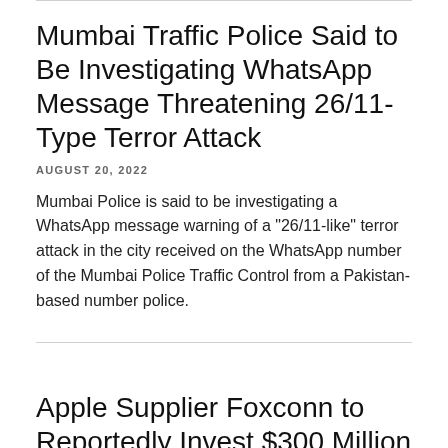Mumbai Traffic Police Said to Be Investigating WhatsApp Message Threatening 26/11-Type Terror Attack
AUGUST 20, 2022
Mumbai Police is said to be investigating a WhatsApp message warning of a "26/11-like" terror attack in the city received on the WhatsApp number of the Mumbai Police Traffic Control from a Pakistan-based number police.
Apple Supplier Foxconn to Reportedly Invest $300 Million More in Northern